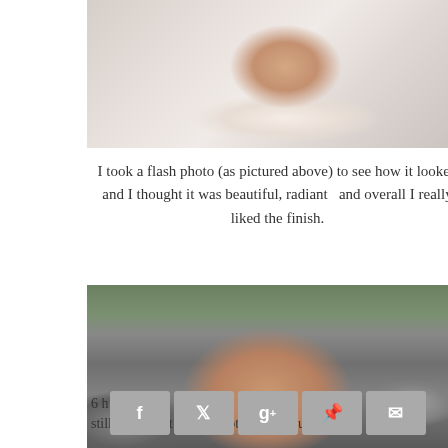[Figure (photo): Selfie photo of a young Asian woman with makeup, smiling, wearing a white dotted blouse, sitting in a room with a mirrored dresser in the background]
I took a flash photo (as pictured above) to see how it looked and I thought it was beautiful, radiant  and overall I really liked the finish.
[Figure (photo): Selfie photo of a young woman with dark hair and makeup, smiling, sitting inside a car with grey interior seats]
[Figure (infographic): Social media share buttons bar showing Facebook, Twitter, Google+, Pinterest, and email icons in grey rounded rectangles]
6 h[ours later the makeup] application still stayed put and did not rub off. During this